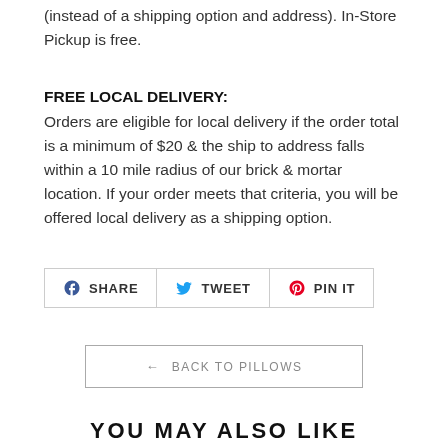(instead of a shipping option and address). In-Store Pickup is free.
FREE LOCAL DELIVERY:
Orders are eligible for local delivery if the order total is a minimum of $20 & the ship to address falls within a 10 mile radius of our brick & mortar location. If your order meets that criteria, you will be offered local delivery as a shipping option.
[Figure (infographic): Social share buttons: SHARE (Facebook), TWEET (Twitter), PIN IT (Pinterest)]
← BACK TO PILLOWS
YOU MAY ALSO LIKE